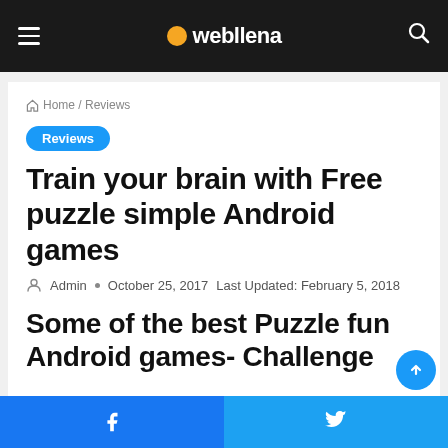webllena — navigation bar with hamburger menu, logo, and search icon
Home / Reviews
Reviews
Train your brain with Free puzzle simple Android games
Admin · October 25, 2017  Last Updated: February 5, 2018
Some of the best Puzzle fun Android games- Challenge
Facebook share | Twitter share